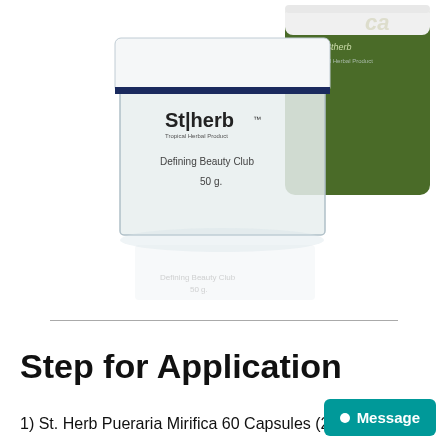[Figure (photo): Product photo of St|herb Tropical Herbal Product cream jar (50g, Defining Beauty Club) in a clear glass-style container with white lid and navy stripe, alongside a green St|herb container, on a white background with reflection.]
Step for Application
1) St. Herb Pueraria Mirifica 60 Capsules (2